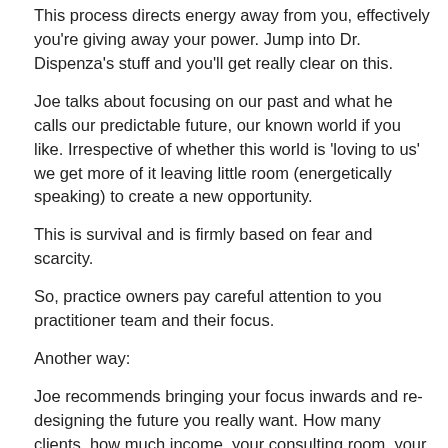This process directs energy away from you, effectively you're giving away your power. Jump into Dr. Dispenza's stuff and you'll get really clear on this.
Joe talks about focusing on our past and what he calls our predictable future, our known world if you like. Irrespective of whether this world is 'loving to us' we get more of it leaving little room (energetically speaking) to create a new opportunity.
This is survival and is firmly based on fear and scarcity.
So, practice owners pay careful attention to you practitioner team and their focus.
Another way:
Joe recommends bringing your focus inwards and re-designing the future you really want. How many clients, how much income, your consulting room, your practice etc